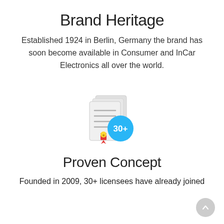Brand Heritage
Established 1924 in Berlin, Germany the brand has soon become available in Consumer and InCar Electronics all over the world.
[Figure (illustration): Icon of stacked documents/certificates with a blue circular badge showing '30+' text]
Proven Concept
Founded in 2009, 30+ licensees have already joined